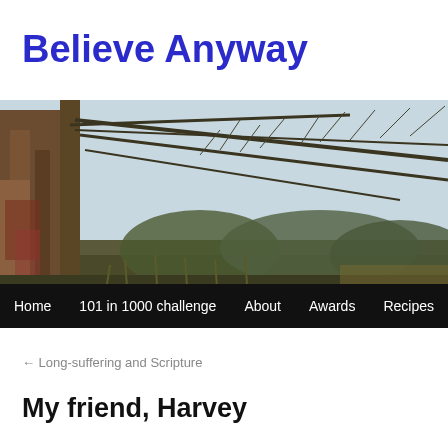Believe Anyway
[Figure (photo): Outdoor nature scene showing a large tree trunk on the left with bare-branched shrubs and sparse grassland extending to the right, photographed in natural daylight.]
Home  101 in 1000 challenge  About  Awards  Recipes
← Long-suffering and Scripture
My friend, Harvey